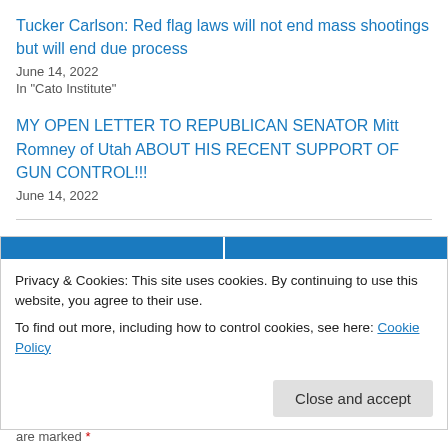Tucker Carlson: Red flag laws will not end mass shootings but will end due process
June 14, 2022
In "Cato Institute"
MY OPEN LETTER TO REPUBLICAN SENATOR Mitt Romney of Utah ABOUT HIS RECENT SUPPORT OF GUN CONTROL!!!
June 14, 2022
May 27, 2022
Leave a Reply
Privacy & Cookies: This site uses cookies. By continuing to use this website, you agree to their use.
To find out more, including how to control cookies, see here: Cookie Policy
Close and accept
are marked *